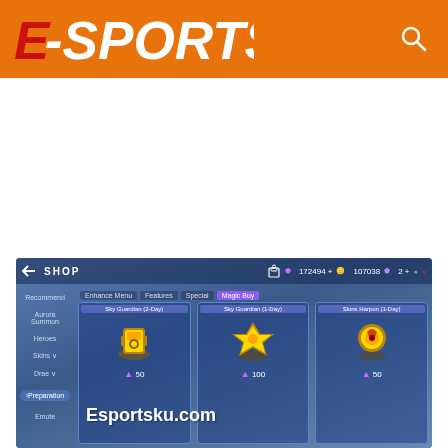[Figure (logo): E-Sportsku logo on orange header bar with search icon]
[Figure (screenshot): Mobile Legends SHOP screen showing Magic Buy tab with three items: Sky Guardian (2-Day) for 50 diamonds, Sky Guardian (1-Day) for 100 diamonds, Skins Harpon (1-Day) for 50 diamonds. Watermark reads Esportsku.com]